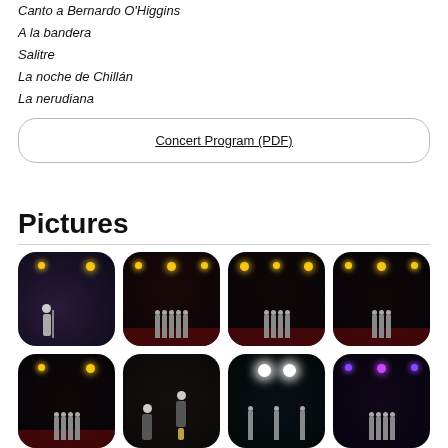Romance de los Carrera
Canto a Bernardo O'Higgins
A la bandera
Salitre
La noche de Chillán
La nerudiana
Concert Program (PDF)
Pictures
[Figure (photo): Concert photo 1: person speaking on stage with stage lights]
[Figure (photo): Concert photo 2: choir/orchestra on dark stage with yellow lights]
[Figure (photo): Concert photo 3: ensemble on stage with yellow overhead lights]
[Figure (photo): Concert photo 4: ensemble on dark stage]
[Figure (photo): Concert photo 5: ensemble on stage with warm lights]
[Figure (photo): Concert photo 6: two men in suits, one holding award/trophy]
[Figure (photo): Concert photo 7: singers performing with large white lights]
[Figure (photo): Concert photo 8: ensemble on stage with blue/purple lighting]